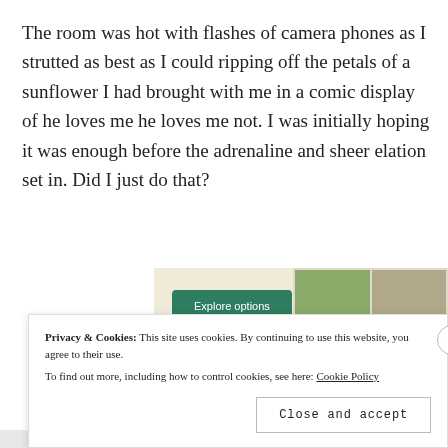The room was hot with flashes of camera phones as I strutted as best as I could ripping off the petals of a sunflower I had brought with me in a comic display of he loves me he loves me not. I was initially hoping it was enough before the adrenaline and sheer elation set in. Did I just do that?
[Figure (screenshot): Advertisement screenshot showing an 'Explore options' green button on a cream background with food images in a grid on the right side.]
Privacy & Cookies: This site uses cookies. By continuing to use this website, you agree to their use.
To find out more, including how to control cookies, see here: Cookie Policy
Close and accept